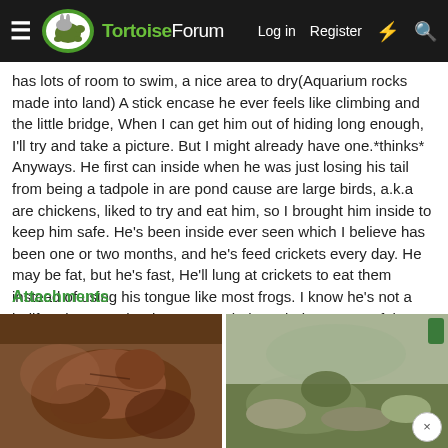TortoiseForum  Log in  Register
has lots of room to swim, a nice area to dry(Aquarium rocks made into land) A stick encase he ever feels like climbing and the little bridge, When I can get him out of hiding long enough, I'll try and take a picture. But I might already have one.*thinks* Anyways. He first can inside when he was just losing his tail from being a tadpole in are pond cause are large birds, a.k.a are chickens, liked to try and eat him, so I brought him inside to keep him safe. He's been inside ever seen which I believe has been one or two months, and he's feed crickets every day. He may be fat, but he's fast, He'll lung at crickets to eat them instead of using his tongue like most frogs. I know he's not a bullfrog because he doesn't match the coloring or any of the descriptions. Heres a pic of him, and his new habitat.
Attachments
[Figure (photo): Close-up photo of a frog, brownish tones]
[Figure (photo): Photo of frog habitat with rocks and greenish tones]